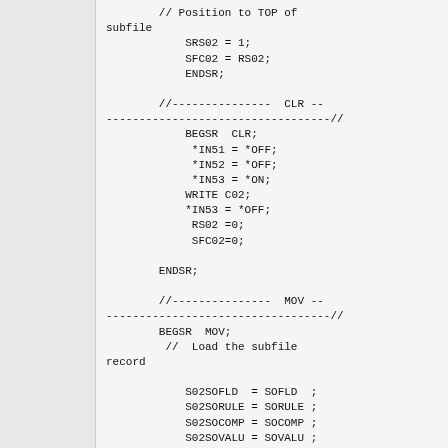// Position to TOP of subfile
            SRS02 = 1;
            SFC02 = RS02;
            ENDSR;

        //---------------  CLR ----------------------------------//
            BEGSR  CLR;
             *IN51 = *OFF;
             *IN52 = *OFF;
             *IN53 = *ON;
            WRITE C02;
            *IN53 = *OFF;
             RS02 =0;
             SFC02=0;

        ENDSR;

        //---------------  MOV ----------------------------------//
        BEGSR  MOV;
         //  Load the subfile record

            S02SOFLD  = SOFLD  ;
            S02SORULE = SORULE ;
            S02SOCOMP = SOCOMP ;
            S02SOVALU = SOVALU ;